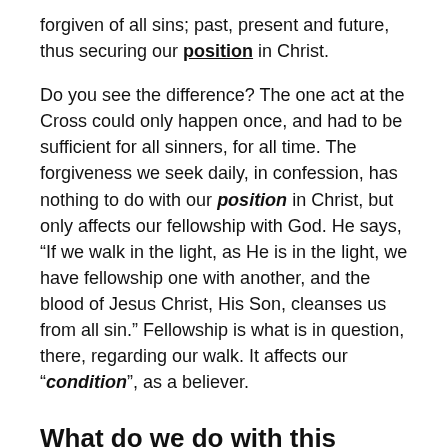forgiven of all sins; past, present and future, thus securing our position in Christ.
Do you see the difference? The one act at the Cross could only happen once, and had to be sufficient for all sinners, for all time. The forgiveness we seek daily, in confession, has nothing to do with our position in Christ, but only affects our fellowship with God. He says, “If we walk in the light, as He is in the light, we have fellowship one with another, and the blood of Jesus Christ, His Son, cleanses us from all sin.” Fellowship is what is in question, there, regarding our walk. It affects our “condition”, as a believer.
What do we do with this concept?
If I have believed the Gospel, trusting in the once-for-all